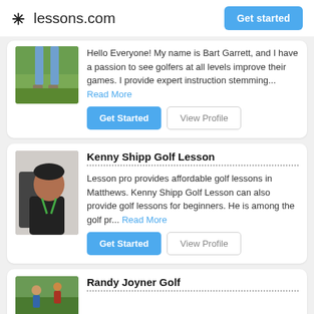lessons.com  |  Get started
Hello Everyone! My name is Bart Garrett, and I have a passion to see golfers at all levels improve their games. I provide expert instruction stemming... Read More
Get Started  View Profile
Kenny Shipp Golf Lesson
Lesson pro provides affordable golf lessons in Matthews. Kenny Shipp Golf Lesson can also provide golf lessons for beginners. He is among the golf pr... Read More
Get Started  View Profile
Randy Joyner Golf